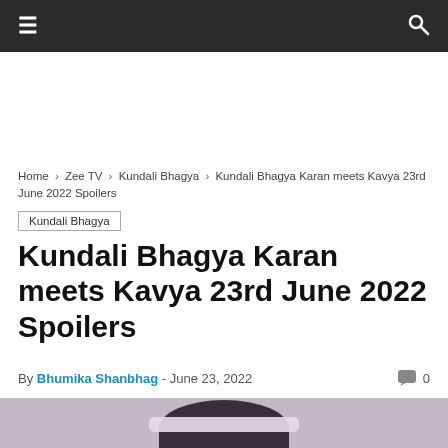≡  🔍
Home › Zee TV › Kundali Bhagya › Kundali Bhagya Karan meets Kavya 23rd June 2022 Spoilers
Kundali Bhagya
Kundali Bhagya Karan meets Kavya 23rd June 2022 Spoilers
By Bhumika Shanbhag - June 23, 2022  💬 0
[Figure (photo): Top of a person's head wearing a white headband, with dark hair, against a muted purple/mauve background]